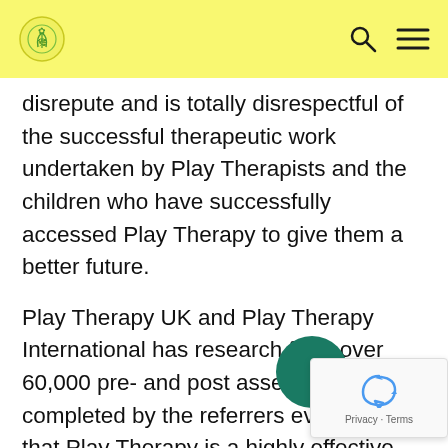[Logo] [Search icon] [Menu icon]
disrepute and is totally disrespectful of the successful therapeutic work undertaken by Play Therapists and the children who have successfully accessed Play Therapy to give them a better future.
Play Therapy UK and Play Therapy International has research from over 60,000 pre- and post assessments, completed by the referrers evidencing that Play Therapy is a highly effective mental health intervention for between 73% to 84% of the Children and Young people, all over the world.  As an